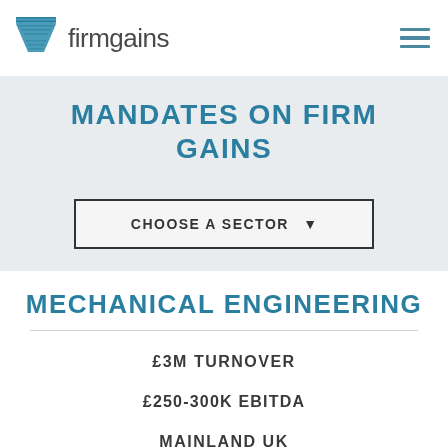firmgains
MANDATES ON FIRM GAINS
CHOOSE A SECTOR
MECHANICAL ENGINEERING
£3M TURNOVER
£250-300K EBITDA
MAINLAND UK